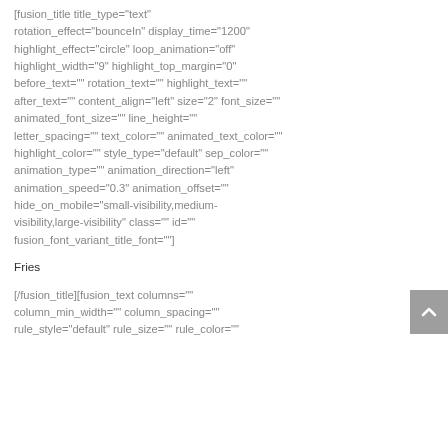[fusion_title title_type="text" rotation_effect="bounceIn" display_time="1200" highlight_effect="circle" loop_animation="off" highlight_width="9" highlight_top_margin="0" before_text="" rotation_text="" highlight_text="" after_text="" content_align="left" size="2" font_size="" animated_font_size="" line_height="" letter_spacing="" text_color="" animated_text_color="" highlight_color="" style_type="default" sep_color="" animation_type="" animation_direction="left" animation_speed="0.3" animation_offset="" hide_on_mobile="small-visibility,medium-visibility,large-visibility" class="" id="" fusion_font_variant_title_font=""]
Fries
[/fusion_title][fusion_text columns="" column_min_width="" column_spacing="" rule_style="default" rule_size="" rule_color=""